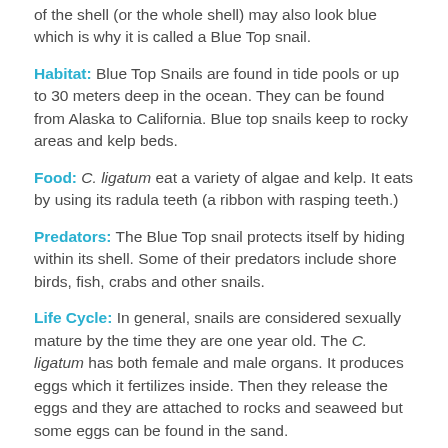of the shell (or the whole shell) may also look blue which is why it is called a Blue Top snail.
Habitat: Blue Top Snails are found in tide pools or up to 30 meters deep in the ocean. They can be found from Alaska to California. Blue top snails keep to rocky areas and kelp beds.
Food: C. ligatum eat a variety of algae and kelp. It eats by using its radula teeth (a ribbon with rasping teeth.)
Predators: The Blue Top snail protects itself by hiding within its shell. Some of their predators include shore birds, fish, crabs and other snails.
Life Cycle: In general, snails are considered sexually mature by the time they are one year old. The C. ligatum has both female and male organs. It produces eggs which it fertilizes inside. Then they release the eggs and they are attached to rocks and seaweed but some eggs can be found in the sand.